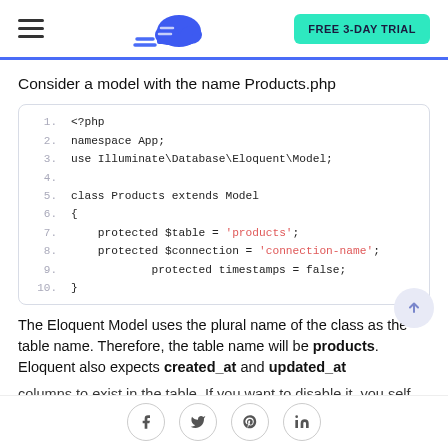FREE 3-DAY TRIAL
Consider a model with the name Products.php
[Figure (screenshot): PHP code block showing a Products model class with namespace App, extending Illuminate\Database\Eloquent\Model, with protected $table = 'products', protected $connection = 'connection-name', protected timestamps = false]
The Eloquent Model uses the plural name of the class as the table name. Therefore, the table name will be products. Eloquent also expects created_at and updated_at